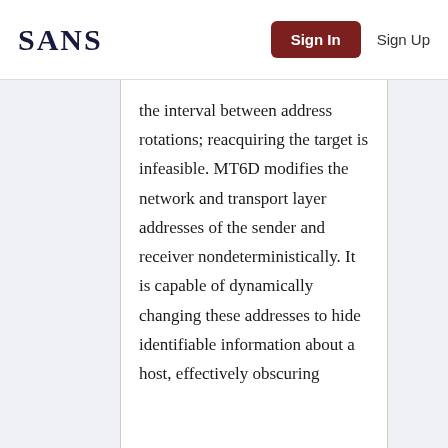SANS | Sign In | Sign Up
the interval between address rotations; reacquiring the target is infeasible. MT6D modifies the network and transport layer addresses of the sender and receiver nondeterministically. It is capable of dynamically changing these addresses to hide identifiable information about a host, effectively obscuring